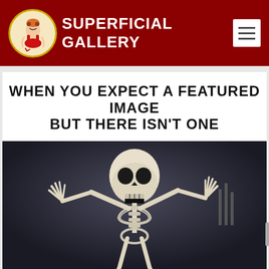SUPERFICIAL GALLERY
WHEN YOU EXPECT A FEATURED IMAGE BUT THERE ISN'T ONE
[Figure (illustration): Animated cartoon skeleton character with arms raised, dark moody background, colored like a vintage cartoon.]
JOHN MELLENCAMP WITH ME'SHELL NDEGEOCELLO – WILD NIGHTS